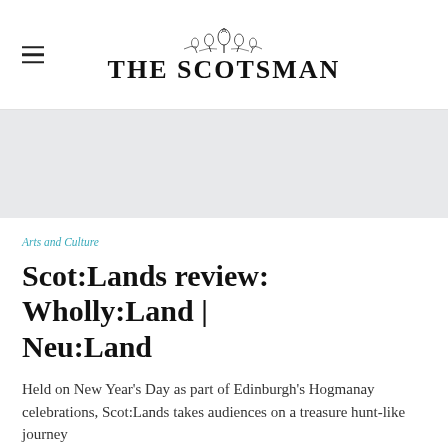THE SCOTSMAN
[Figure (other): The Scotsman newspaper logo with decorative thistle emblem above bold serif text reading THE SCOTSMAN]
Arts and Culture
Scot:Lands review: Wholly:Land | Neu:Land
Held on New Year's Day as part of Edinburgh's Hogmanay celebrations, Scot:Lands takes audiences on a treasure hunt-like journey